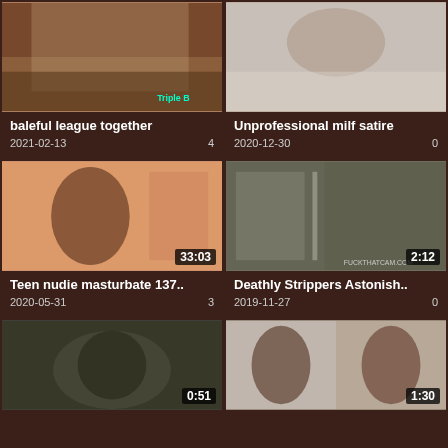[Figure (photo): Video thumbnail 1 - baleful league together]
baleful league together
2021-02-13   4
[Figure (photo): Video thumbnail 2 - Unprofessional milf satire]
Unprofessional milf satire
2020-12-30   0
[Figure (photo): Video thumbnail 3 - Teen nudie masturbate 137.. duration 33:03]
Teen nudie masturbate 137..
2020-05-31   3
[Figure (photo): Video thumbnail 4 - Deathly Strippers Astonish.. duration 2:12]
Deathly Strippers Astonish..
2019-11-27   0
[Figure (photo): Video thumbnail 5 - duration 0:51]
[Figure (photo): Video thumbnail 6 - duration 1:30]